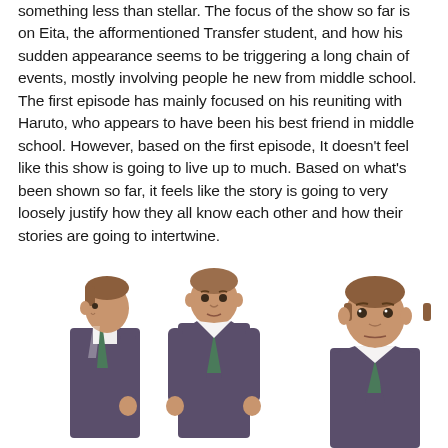something less than stellar. The focus of the show so far is on Eita, the afformentioned Transfer student, and how his sudden appearance seems to be triggering a long chain of events, mostly involving people he new from middle school. The first episode has mainly focused on his reuniting with Haruto, who appears to have been his best friend in middle school. However, based on the first episode, It doesn't feel like this show is going to live up to much. Based on what's been shown so far, it feels like the story is going to very loosely justify how they all know each other and how their stories are going to intertwine.
[Figure (illustration): Three anime character illustrations of a male student in a dark school uniform (blazer) with a white shirt and green tie, shown from three angles: side profile (left), front facing (center), and a closer front-facing portrait (right). The character has short brown hair.]